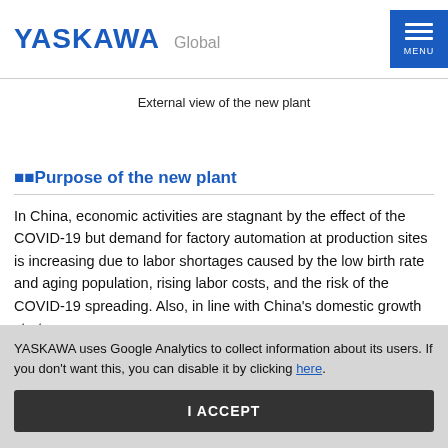YASKAWA Global MENU
External view of the new plant
⬛⬛Purpose of the new plant
In China, economic activities are stagnant by the effect of the COVID-19 but demand for factory automation at production sites is increasing due to labor shortages caused by the low birth rate and aging population, rising labor costs, and the risk of the COVID-19 spreading. Also, in line with China's domestic growth strategy,
YASKAWA uses Google Analytics to collect information about its users. If you don't want this, you can disable it by clicking here.
I ACCEPT